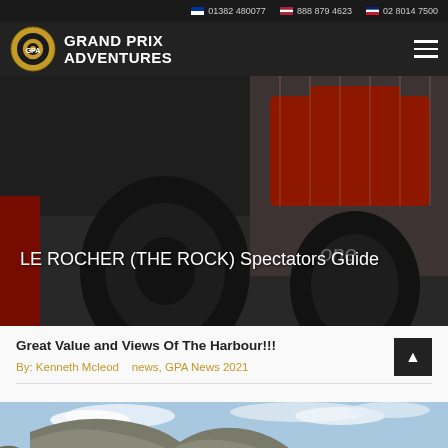01382 480077   888 879 4623   02 8014 7500
[Figure (logo): Grand Prix Adventures (GPA) logo with circular emblem and white bold text GRAND PRIX ADVENTURES]
[Figure (photo): Hero image of a Formula 1 car with large rear tyres visible, red car body, in a pit lane or paddock setting, with semi-transparent dark overlay]
LE ROCHER (THE ROCK) Spectators Guide
Great Value and Views Of The Harbour!!!
By: Kenneth Mcleod   news, GPA News 2021
[Figure (photo): Partial view of a rocky coastal landscape with blue sky and clouds, appearing to show Le Rocher / The Rock of Monaco]